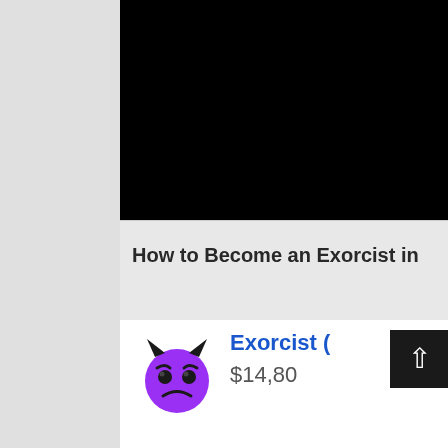[Figure (screenshot): Black video player area showing a YouTube-style video thumbnail]
How to Become an Exorcist in
[Figure (illustration): Purple devil face emoji (angry devil with horns)]
Exorcist (
$14,80